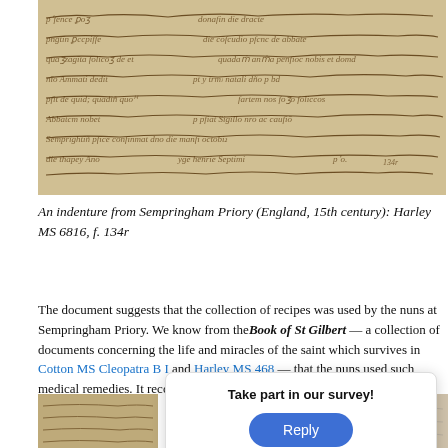[Figure (photo): Photograph of a medieval manuscript page showing handwritten Latin text in brown ink on parchment, an indenture from Sempringham Priory, England, 15th century.]
An indenture from Sempringham Priory (England, 15th century): Harley MS 6816, f. 134r
The document suggests that the collection of recipes was used by the nuns at Sempringham Priory. We know from the Book of St Gilbert — a collection of documents concerning the life and miracles of the saint which survives in Cotton MS Cleopatra B I and Harley MS 468 — that the nuns used such medical remedies. It records that a nun from Sempringham suffered from leprosy with medi...
[Figure (photo): Partial view of another manuscript page, bottom-left corner.]
[Figure (photo): Partial view of another manuscript page, bottom-right corner.]